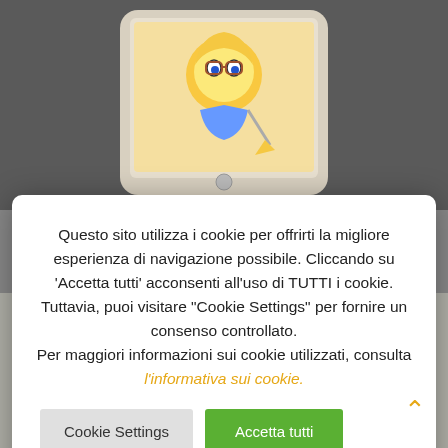[Figure (photo): Person holding a smartphone displaying a cartoon character (blonde girl with glasses)]
Questo sito utilizza i cookie per offrirti la migliore esperienza di navigazione possibile. Cliccando su 'Accetta tutti' acconsenti all'uso di TUTTI i cookie. Tuttavia, puoi visitare "Cookie Settings" per fornire un consenso controllato.
Per maggiori informazioni sui cookie utilizzati, consulta l'informativa sui cookie.
[Figure (illustration): Pencil sketch illustrations of cartoon characters in various poses]